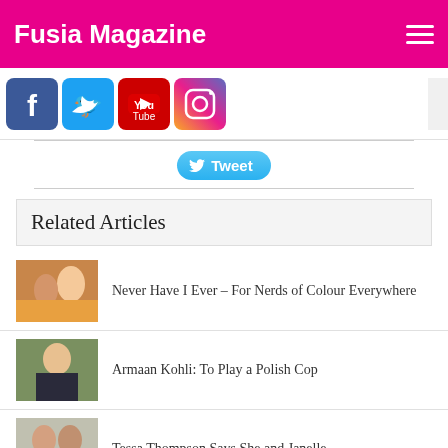Fusia Magazine
[Figure (infographic): Social media icons row: Facebook, Twitter, YouTube, Instagram]
[Figure (infographic): Tweet button]
Related Articles
[Figure (photo): Thumbnail for Never Have I Ever article]
Never Have I Ever – For Nerds of Colour Everywhere
[Figure (photo): Thumbnail for Armaan Kohli article]
Armaan Kohli: To Play a Polish Cop
[Figure (photo): Thumbnail for Tessa Thompson article]
Tessa Thompson Says She and Janelle